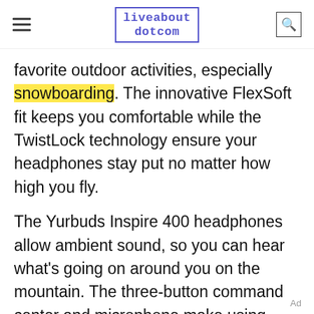liveabout dotcom
favorite outdoor activities, especially snowboarding. The innovative FlexSoft fit keeps you comfortable while the TwistLock technology ensure your headphones stay put no matter how high you fly.
The Yurbuds Inspire 400 headphones allow ambient sound, so you can hear what's going on around you on the mountain. The three-button command center and microphone make using your phone and shuffling through your music easy, even if you're wearing bulky gloves or mittens. These